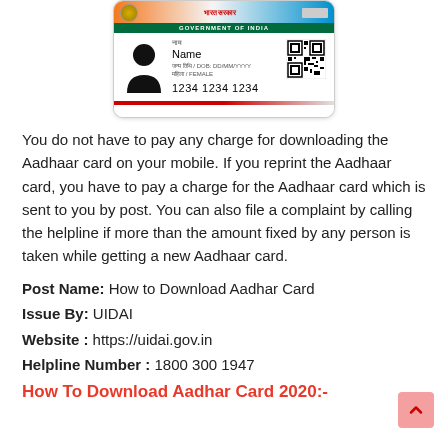[Figure (illustration): Aadhaar card sample showing Government of India header with tricolor stripe, person silhouette photo, Name field, DOB DD/MM/YYYY, FEMALE gender, UID number 1234 1234 1234, and QR code]
You do not have to pay any charge for downloading the Aadhaar card on your mobile. If you reprint the Aadhaar card, you have to pay a charge for the Aadhaar card which is sent to you by post. You can also file a complaint by calling the helpline if more than the amount fixed by any person is taken while getting a new Aadhaar card.
Post Name: How to Download Aadhar Card
Issue By: UIDAI
Website : https://uidai.gov.in
Helpline Number : 1800 300 1947
How To Download Aadhar Card 2020:-